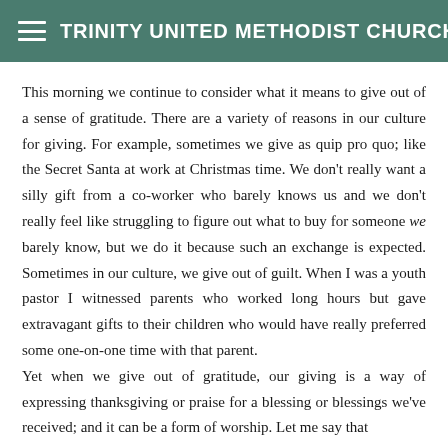TRINITY UNITED METHODIST CHURCH
This morning we continue to consider what it means to give out of a sense of gratitude.  There are a variety of reasons in our culture for giving.  For example, sometimes we give as quip pro quo; like the Secret Santa at work at Christmas time.  We don't really want a silly gift from a co-worker who barely knows us and we don't really feel like struggling to figure out what to buy for someone we barely know, but we do it because such an exchange is expected.  Sometimes in our culture, we give out of guilt.  When I was a youth pastor I witnessed parents who worked long hours but gave extravagant gifts to their children who would have really preferred some one-on-one time with that parent.
Yet when we give out of gratitude, our giving is a way of expressing thanksgiving or praise for a blessing or blessings we've received; and it can be a form of worship.  Let me say that